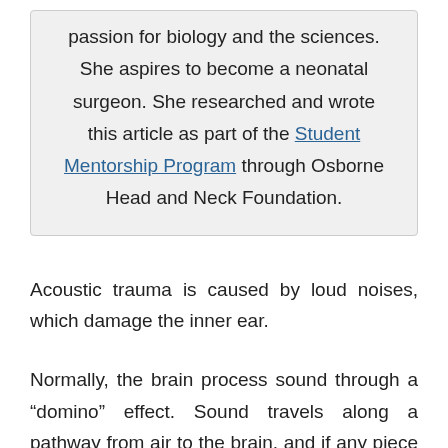passion for biology and the sciences. She aspires to become a neonatal surgeon. She researched and wrote this article as part of the Student Mentorship Program through Osborne Head and Neck Foundation.
Acoustic trauma is caused by loud noises, which damage the inner ear.
Normally, the brain process sound through a “domino” effect. Sound travels along a pathway from air to the brain, and if any piece of the path is injured